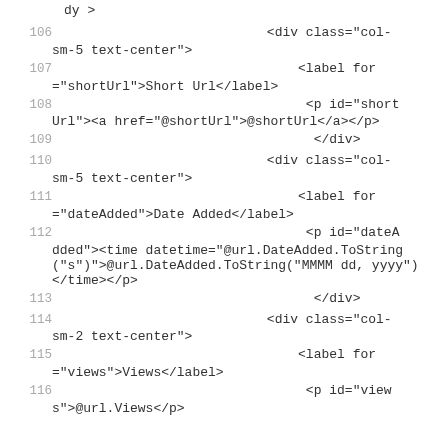dy >
106   <div class="col-sm-5 text-center">
107   <label for ="shortUrl">Short Url</label>
108   <p id="short Url"><a href="@shortUrl">@shortUrl</a></p>
109   </div>
110   <div class="col-sm-5 text-center">
111   <label for ="dateAdded">Date Added</label>
112   <p id="dateA dded"><time datetime="@url.DateAdded.ToString ("s")">@url.DateAdded.ToString("MMMM dd, yyyy") </time></p>
113   </div>
114   <div class="col-sm-2 text-center">
115   <label for ="views">Views</label>
116   <p id="view s">@url.Views</p>